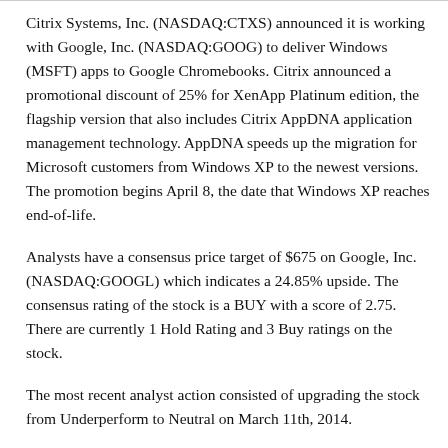Citrix Systems, Inc. (NASDAQ:CTXS) announced it is working with Google, Inc. (NASDAQ:GOOG) to deliver Windows (MSFT) apps to Google Chromebooks. Citrix announced a promotional discount of 25% for XenApp Platinum edition, the flagship version that also includes Citrix AppDNA application management technology. AppDNA speeds up the migration for Microsoft customers from Windows XP to the newest versions. The promotion begins April 8, the date that Windows XP reaches end-of-life.
Analysts have a consensus price target of $675 on Google, Inc. (NASDAQ:GOOGL) which indicates a 24.85% upside. The consensus rating of the stock is a BUY with a score of 2.75. There are currently 1 Hold Rating and 3 Buy ratings on the stock.
The most recent analyst action consisted of upgrading the stock from Underperform to Neutral on March 11th, 2014.
Analysts have a consensus price target of $69.44 on Citrix